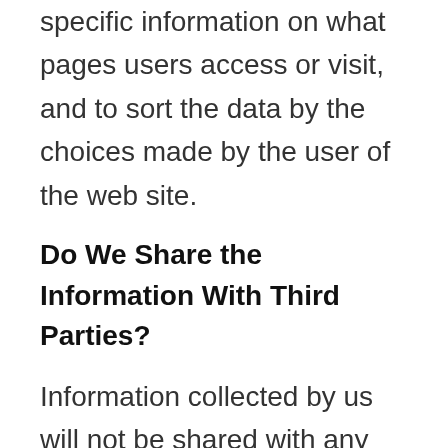specific information on what pages users access or visit, and to sort the data by the choices made by the user of the web site.
Do We Share the Information With Third Parties?
Information collected by us will not be shared with any third parties except as follows:
1.  We may share information with